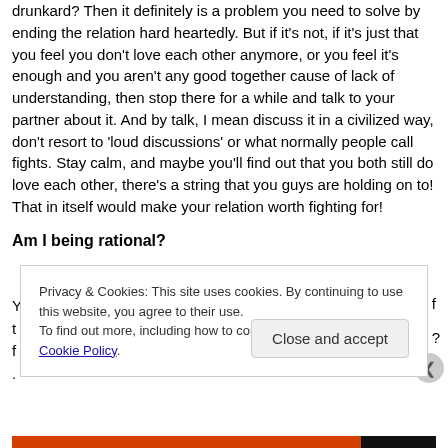drunkard? Then it definitely is a problem you need to solve by ending the relation hard heartedly. But if it's not, if it's just that you feel you don't love each other anymore, or you feel it's enough and you aren't any good together cause of lack of understanding, then stop there for a while and talk to your partner about it. And by talk, I mean discuss it in a civilized way, don't resort to 'loud discussions' or what normally people call fights. Stay calm, and maybe you'll find out that you both still do love each other, there's a string that you guys are holding on to! That in itself would make your relation worth fighting for!
Am I being rational?
Privacy & Cookies: This site uses cookies. By continuing to use this website, you agree to their use.
To find out more, including how to control cookies, see here: Cookie Policy
Close and accept